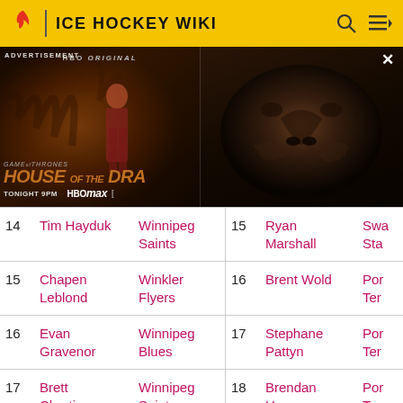ICE HOCKEY WIKI
[Figure (photo): Advertisement banner for House of the Dragon on HBO Max, showing a person in red costume on left side and a close-up of a dragon on the right side. Text reads: ADVERTISEMENT, HBO ORIGINAL, GAME OF THRONES, HOUSE OF THE DRA[GON], TONIGHT 9PM, HBOmax]
| # | Name | Team | # | Name | Team |
| --- | --- | --- | --- | --- | --- |
| 14 | Tim Hayduk | Winnipeg Saints | 15 | Ryan Marshall | Swa… Sta… |
| 15 | Chapen Leblond | Winkler Flyers | 16 | Brent Wold | Por… Ter… |
| 16 | Evan Gravenor | Winnipeg Blues | 17 | Stephane Pattyn | Por… Ter… |
| 17 | Brett Chartier | Winnipeg Saints | 18 | Brendan Harms | Por… Ter… |